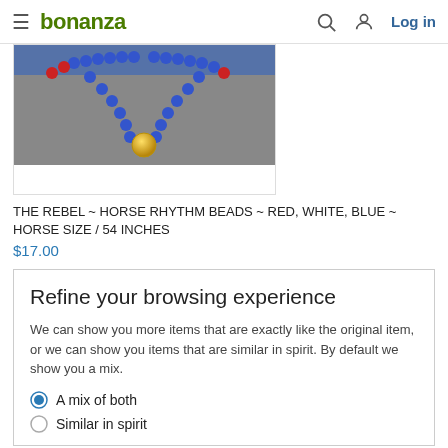bonanza | Log in
[Figure (photo): Photo of a horse rhythm bead necklace with blue and red beads and a gold bead, on a gray background. Below the image is a white space area.]
THE REBEL ~ HORSE RHYTHM BEADS ~ RED, WHITE, BLUE ~ HORSE SIZE / 54 INCHES
$17.00
Refine your browsing experience
We can show you more items that are exactly like the original item, or we can show you items that are similar in spirit. By default we show you a mix.
A mix of both
Similar in spirit